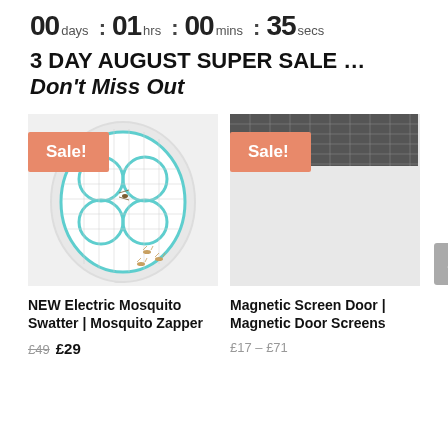00 days : 01 hrs : 00 mins : 35 secs
3 DAY AUGUST SUPER SALE … Don't Miss Out
[Figure (photo): Electric mosquito swatter racket with teal/turquoise mesh grid and bubbles design, with small gold/brown flies near the handle, on a white background. Orange 'Sale!' badge overlaid top-left.]
[Figure (photo): Partial image of a magnetic screen door product, showing a dark mesh/screen at top. Orange 'Sale!' badge overlaid top-left.]
NEW Electric Mosquito Swatter | Mosquito Zapper
£49  £29
Magnetic Screen Door | Magnetic Door Screens
£17 – £71